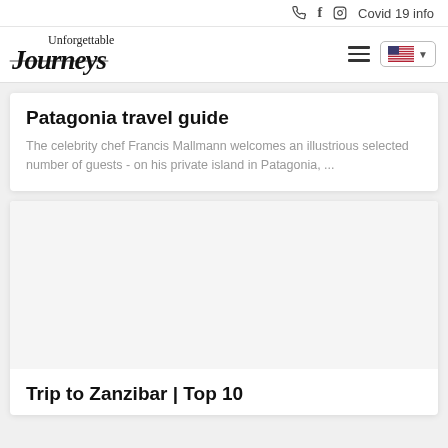📞 f 🔲 Covid 19 info
[Figure (logo): Unforgettable Journeys logo with script text 'Unforgettable' above serif italic bold 'Journeys' with horizontal lines]
Patagonia travel guide
The celebrity chef Francis Mallmann welcomes an illustrious selected number of guests - on his private island in Patagonia, ...
[Figure (photo): Empty/loading image placeholder for Zanzibar article]
Trip to Zanzibar | Top 10